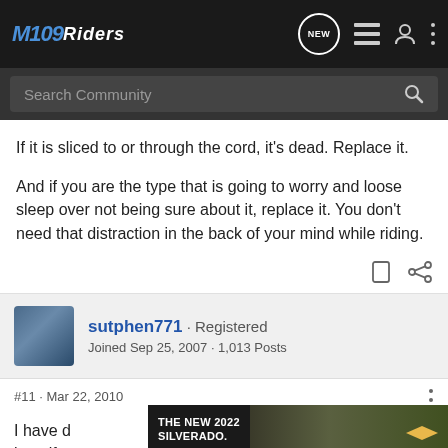M109RIDERS - Navigation bar with Search Community
If it is sliced to or through the cord, it's dead. Replace it.

And if you are the type that is going to worry and loose sleep over not being sure about it, replace it. You don't need that distraction in the back of your mind while riding.
sutphen771 · Registered
Joined Sep 25, 2007 · 1,013 Posts
#11 · Mar 22, 2010
I have d... best if
[Figure (screenshot): THE NEW 2022 SILVERADO. Chevrolet advertisement banner with truck image and Explore button]